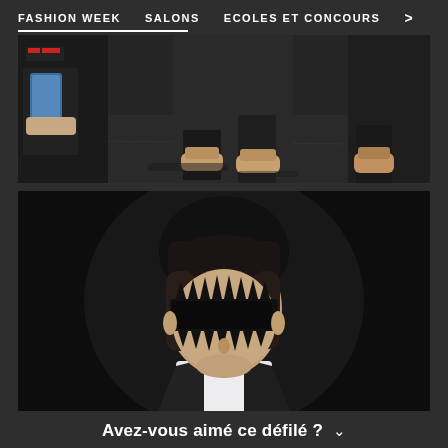FASHION WEEK   SALONS   ECOLES ET CONCOURS   >
[Figure (photo): Close-up photo of feet/shoes on a fashion runway — a person photographing with a phone on the left, two pairs of feet with tan-colored open-toed sandal shoes on the right, dark background]
[Figure (photo): Fashion runway photo of a young male model with medium-length brown hair wearing dramatic black spiked/jagged sunglasses and dark theatrical makeup around the eyes, dressed in a dark suit with white collar shirt, dark background]
Avez-vous aimé ce défilé ?
[Figure (other): Five white star rating icons in a row]